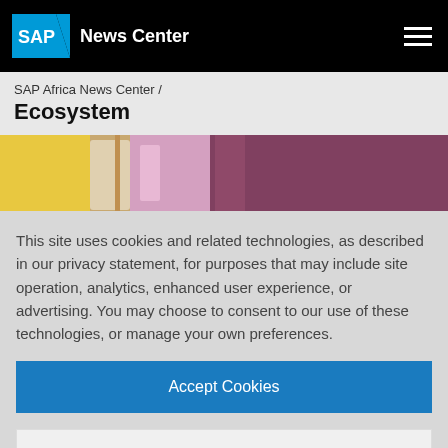SAP News Center
SAP Africa News Center / Ecosystem
[Figure (photo): Partial hero image showing colorful fabric or textile merchandise display]
This site uses cookies and related technologies, as described in our privacy statement, for purposes that may include site operation, analytics, enhanced user experience, or advertising. You may choose to consent to our use of these technologies, or manage your own preferences.
Accept Cookies
More Information
Privacy Policy | Powered by: TrustArc